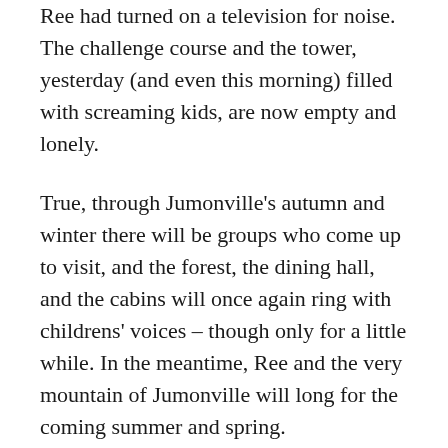Ree had turned on a television for noise. The challenge course and the tower, yesterday (and even this morning) filled with screaming kids, are now empty and lonely.
True, through Jumonville's autumn and winter there will be groups who come up to visit, and the forest, the dining hall, and the cabins will once again ring with childrens' voices – though only for a little while. In the meantime, Ree and the very mountain of Jumonville will long for the coming summer and spring.
When the ground finally shakes off its fluffy white coat, and the green grass makes its bold appearance. When buses from the Laurel Highlands Outdoor School once again struggle